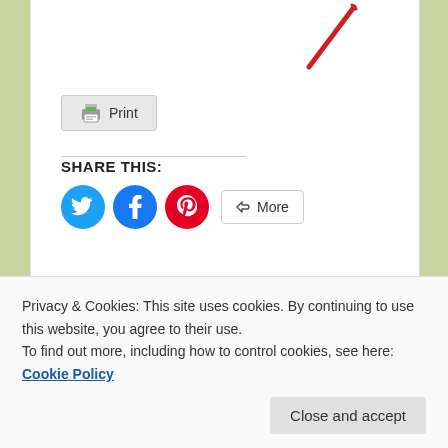[Figure (illustration): Red pencil diagonal icon in upper portion of page]
[Figure (screenshot): Print button with printer icon]
SHARE THIS:
[Figure (infographic): Social share buttons: Twitter (blue circle), Facebook (blue circle), Pinterest (red circle), and More button]
SUPPORT
If you would like to make a donation to TC, contact the editors
Privacy & Cookies: This site uses cookies. By continuing to use this website, you agree to their use.
To find out more, including how to control cookies, see here: Cookie Policy
Operation
Parked
Gray-Eyed Greedy Guts